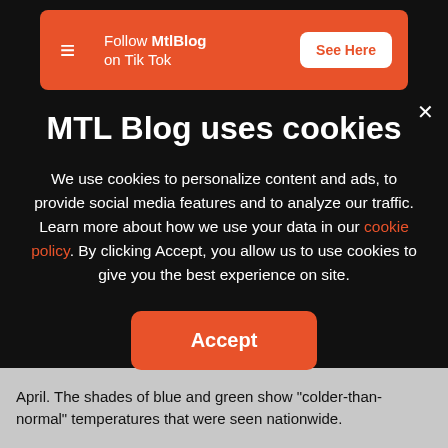[Figure (screenshot): Orange banner ad for MtlBlog TikTok with logo, text 'Follow MtlBlog on Tik Tok', and 'See Here' button]
MTL Blog uses cookies
We use cookies to personalize content and ads, to provide social media features and to analyze our traffic. Learn more about how we use your data in our cookie policy. By clicking Accept, you allow us to use cookies to give you the best experience on site.
Accept
April. The shades of blue and green show "colder-than-normal" temperatures that were seen nationwide.